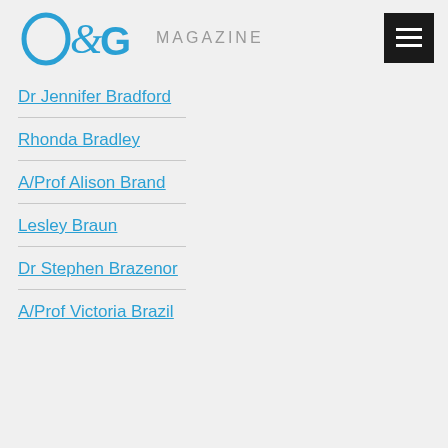O&G MAGAZINE
Dr Jennifer Bradford
Rhonda Bradley
A/Prof Alison Brand
Lesley Braun
Dr Stephen Brazenor
A/Prof Victoria Brazil